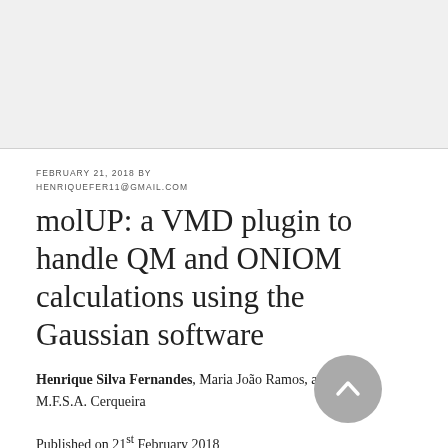[Figure (other): Gray background banner area at the top of the page]
FEBRUARY 21, 2018 BY HENRIQUEFER11@GMAIL.COM
molUP: a VMD plugin to handle QM and ONIOM calculations using the Gaussian software
Henrique Silva Fernandes, Maria João Ramos, and Nuno M.F.S.A. Cerqueira
Published on 21st February 2018
DOI: http://dx.doi.org/10.1002/jcc.25189 | Download